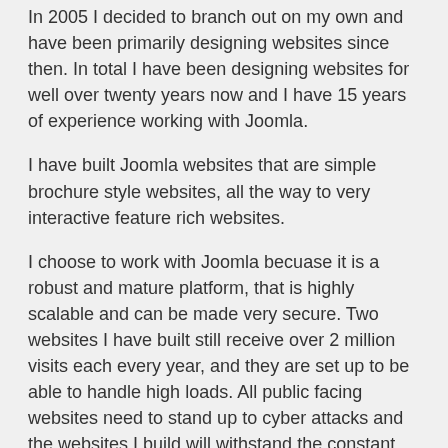In 2005 I decided to branch out on my own and have been primarily designing websites since then. In total I have been designing websites for well over twenty years now and I have 15 years of experience working with Joomla.
I have built Joomla websites that are simple brochure style websites, all the way to very interactive feature rich websites.
I choose to work with Joomla becuase it is a robust and mature platform, that is highly scalable and can be made very secure. Two websites I have built still receive over 2 million visits each every year, and they are set up to be able to handle high loads. All public facing websites need to stand up to cyber attacks and the websites I build will withstand the constant onslaught of cyber attacks.